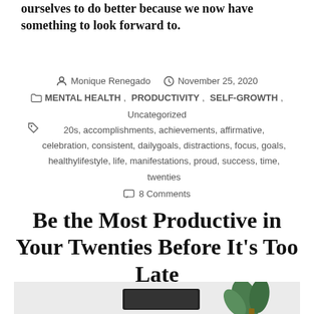ourselves to do better because we now have something to look forward to.
Monique Renegado  November 25, 2020  MENTAL HEALTH, PRODUCTIVITY, SELF-GROWTH, Uncategorized  20s, accomplishments, achievements, affirmative, celebration, consistent, dailygoals, distractions, focus, goals, healthylifestyle, life, manifestations, proud, success, time, twenties  8 Comments
Be the Most Productive in Your Twenties Before It's Too Late
[Figure (photo): Partial view of article thumbnail image showing a plant and a dark object on a light background]